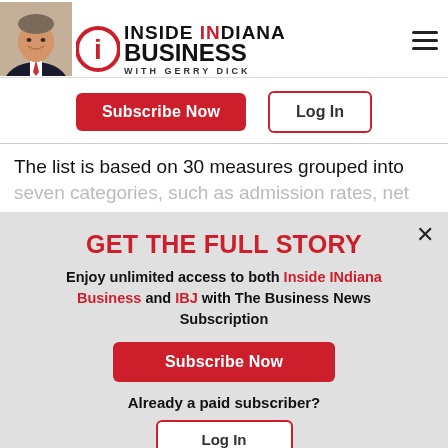[Figure (logo): Inside INdiana Business with Gerry Dick logo with photo of Gerry Dick and circular i icon]
Subscribe Now
Log In
The list is based on 30 measures grouped into seven categories, such as admission rates, net
GET THE FULL STORY
Enjoy unlimited access to both Inside INdiana Business and IBJ with The Business News Subscription
Subscribe Now
Already a paid subscriber?
Log In